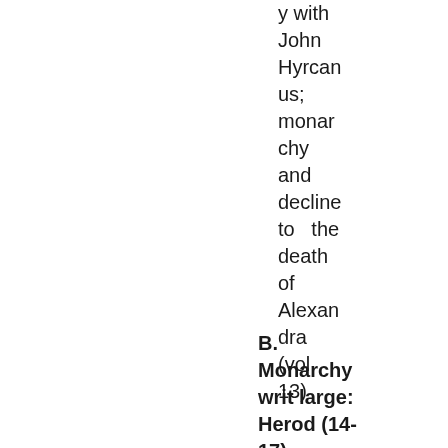y with John Hyrcanus; monarchy and decline to the death of Alexandra (vol. 13)
B. Monarchy writ large: Herod (14-17)